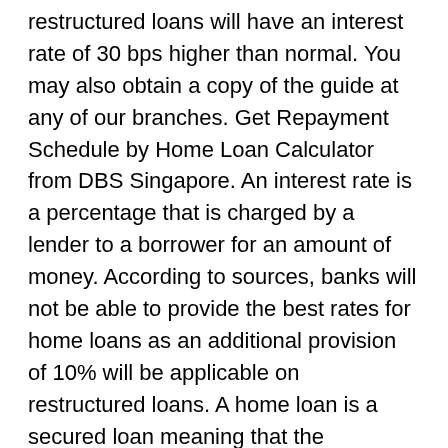restructured loans will have an interest rate of 30 bps higher than normal. You may also obtain a copy of the guide at any of our branches. Get Repayment Schedule by Home Loan Calculator from DBS Singapore. An interest rate is a percentage that is charged by a lender to a borrower for an amount of money. According to sources, banks will not be able to provide the best rates for home loans as an additional provision of 10% will be applicable on restructured loans. A home loan is a secured loan meaning that the bank/finance company extends credit to the borrower with the home (or property) as collateral to safeguard against default. Credit facilities are granted at the discretion of the Bank. P – Principal amount (the amount borrowed as a loan) R – Monthly rate of interest. For example if your loan amount is ₹ 5 lakh for 2 years at 12% p.a., the formula to calculate EMI is as follows. That looks invalid. Interest rates also vary with market conditions, but for 2019 the interest